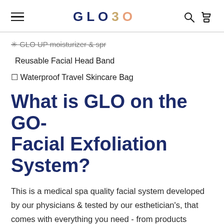GLO30 — navigation header with hamburger menu, logo, search and cart icons
✳ GLO UP moisturizer & spr
Reusable Facial Head Band
☐ Waterproof Travel Skincare Bag
What is GLO on the GO- Facial Exfoliation System?
This is a medical spa quality facial system developed by our physicians & tested by our esthetician's, that comes with everything you need - from products